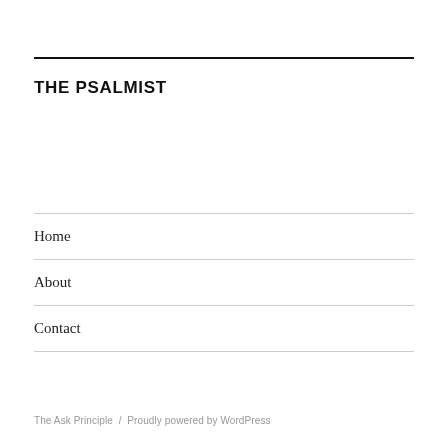THE PSALMIST
Home
About
Contact
The Ask Principle  /  Proudly powered by WordPress